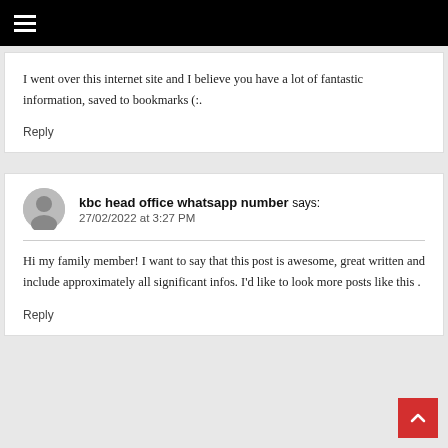≡
I went over this internet site and I believe you have a lot of fantastic information, saved to bookmarks (:.
Reply
kbc head office whatsapp number says: 27/02/2022 at 3:27 PM
Hi my family member! I want to say that this post is awesome, great written and include approximately all significant infos. I'd like to look more posts like this .
Reply